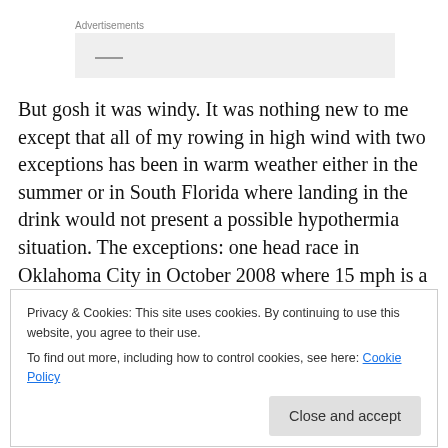Advertisements
But gosh it was windy. It was nothing new to me except that all of my rowing in high wind with two exceptions has been in warm weather either in the summer or in South Florida where landing in the drink would not present a possible hypothermia situation. The exceptions: one head race in Oklahoma City in October 2008 where 15 mph is a
Privacy & Cookies: This site uses cookies. By continuing to use this website, you agree to their use.
To find out more, including how to control cookies, see here: Cookie Policy
Close and accept
Now to answer the question as to why I tend to square my